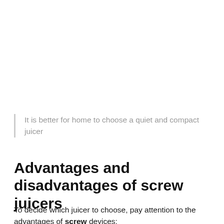It is better for home to choose a quiet and compact juicer
Advantages and disadvantages of screw juicers
To decide which juicer to choose, pay attention to the advantages of screw devices: